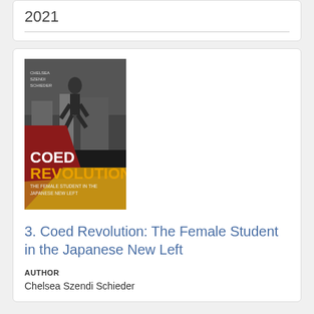2021
[Figure (photo): Book cover of 'Coed Revolution: The Female Student in the Japanese New Left' by Chelsea Szendi Schieder. Cover features a black and white photo of a person running, overlaid with red and yellow diagonal design elements and white title text.]
3. Coed Revolution: The Female Student in the Japanese New Left
AUTHOR
Chelsea Szendi Schieder